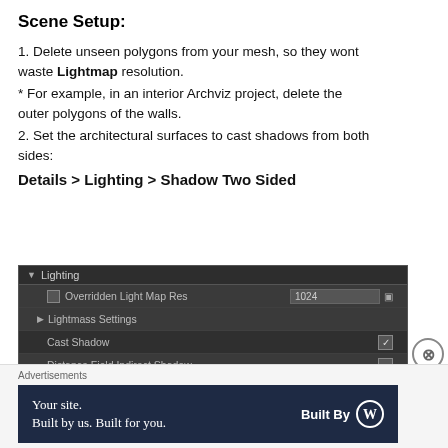Scene Setup:
1. Delete unseen polygons from your mesh, so they wont waste Lightmap resolution.
* For example, in an interior Archviz project, delete the outer polygons of the walls.
2. Set the architectural surfaces to cast shadows from both sides:
Details > Lighting > Shadow Two Sided
[Figure (screenshot): Unreal Engine Details panel showing Lighting section with fields: Overridden Light Map Res (1024), Lightmass Settings, Cast Shadow (checked), Distance Field Indirect Shadow (unchecked), Override Distance Field Self Shadow Bias (unchecked), Reverse Culling (unchecked)]
Advertisements
Your site. Built by us. Built for you.  Built By [WordPress logo]